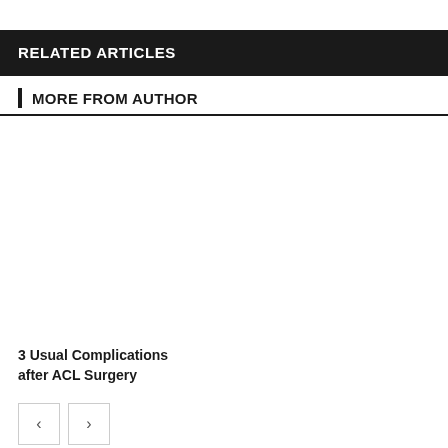RELATED ARTICLES
MORE FROM AUTHOR
3 Usual Complications after ACL Surgery